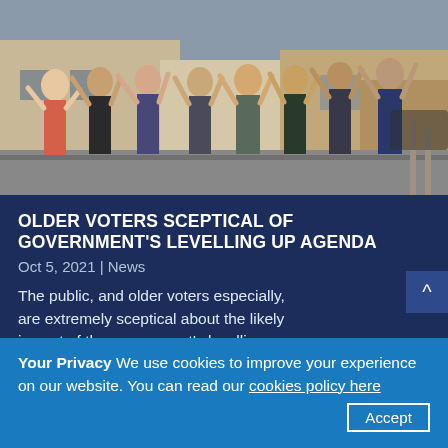[Figure (photo): Group of people waving with hands raised, standing outside a brick building on a residential street.]
OLDER VOTERS SCEPTICAL OF GOVERNMENT'S LEVELLING UP AGENDA
Oct 5, 2021 | News
The public, and older voters especially, are extremely sceptical about the likely impact of the government's levelling up agenda in their community.
Your Privacy We use cookies to improve your experience on our website. You can read our cookies policy here  Accept